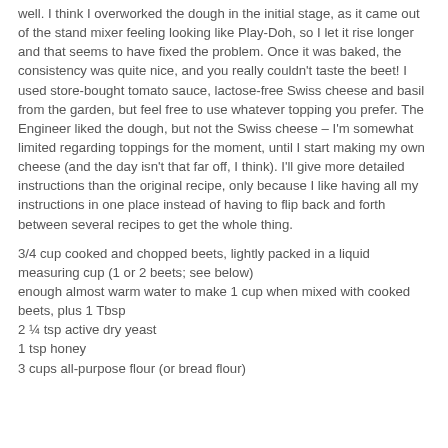well. I think I overworked the dough in the initial stage, as it came out of the stand mixer feeling looking like Play-Doh, so I let it rise longer and that seems to have fixed the problem. Once it was baked, the consistency was quite nice, and you really couldn't taste the beet! I used store-bought tomato sauce, lactose-free Swiss cheese and basil from the garden, but feel free to use whatever topping you prefer. The Engineer liked the dough, but not the Swiss cheese – I'm somewhat limited regarding toppings for the moment, until I start making my own cheese (and the day isn't that far off, I think). I'll give more detailed instructions than the original recipe, only because I like having all my instructions in one place instead of having to flip back and forth between several recipes to get the whole thing.
3/4 cup cooked and chopped beets, lightly packed in a liquid measuring cup (1 or 2 beets; see below)
enough almost warm water to make 1 cup when mixed with cooked beets, plus 1 Tbsp
2 ¼ tsp active dry yeast
1 tsp honey
3 cups all-purpose flour (or bread flour)